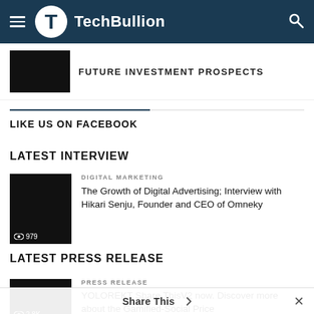TechBullion
FUTURE INVESTMENT PROSPECTS
LIKE US ON FACEBOOK
LATEST INTERVIEW
DIGITAL MARKETING
The Growth of Digital Advertising; Interview with Hikari Senju, Founder and CEO of Omneky
LATEST PRESS RELEASE
PRESS RELEASE
YOLOREKT Share ThisV2 now. Discover more about the Gamified-Social Price
Share This